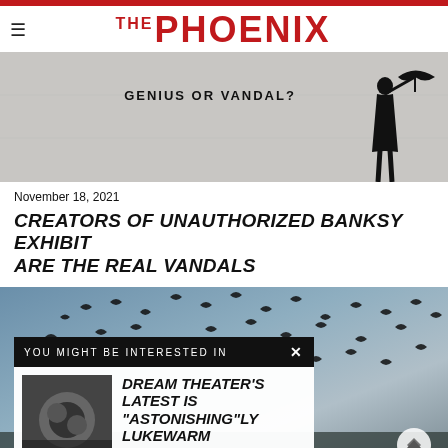THE PHOENIX
[Figure (photo): Banksy street art on concrete wall reading 'GENIUS OR VANDAL?' with silhouette of a girl holding an umbrella on the right side]
November 18, 2021
CREATORS OF UNAUTHORIZED BANKSY EXHIBIT ARE THE REAL VANDALS
[Figure (photo): Large flock of birds flying in a dramatic sky, with people in protective suits visible at the bottom right]
YOU MIGHT BE INTERESTED IN
[Figure (photo): Album cover thumbnail for Dream Theater's 'The Astonishing']
DREAM THEATER'S LATEST IS "ASTONISHING"LY LUKEWARM